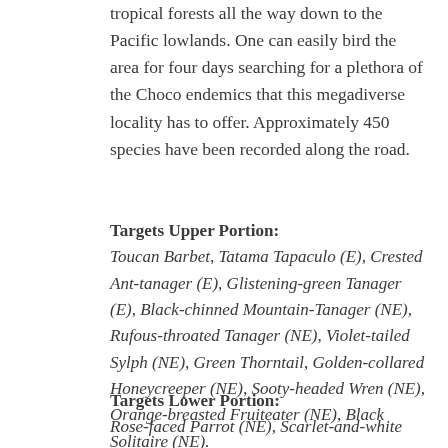tropical forests all the way down to the Pacific lowlands. One can easily bird the area for four days searching for a plethora of the Choco endemics that this megadiverse locality has to offer. Approximately 450 species have been recorded along the road.
Targets Upper Portion:
Toucan Barbet, Tatama Tapaculo (E), Crested Ant-tanager (E), Glistening-green Tanager (E), Black-chinned Mountain-Tanager (NE), Rufous-throated Tanager (NE), Violet-tailed Sylph (NE), Green Thorntail, Golden-collared Honeycreeper (NE), Sooty-headed Wren (NE), Orange-breasted Fruiteater (NE), Black Solitaire (NE).
Targets Lower Portion:
Rose-faced Parrot (NE), Scarlet-and-white